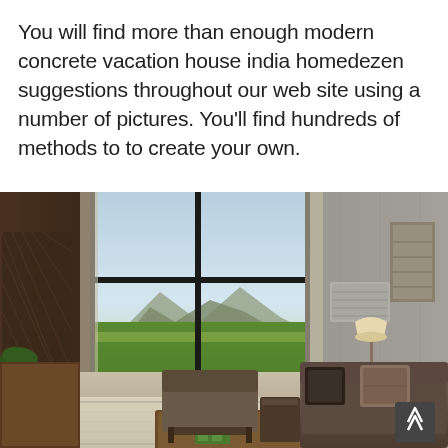You will find more than enough modern concrete vacation house india homedezen suggestions throughout our web site using a number of pictures. You'll find hundreds of methods to to create your own.
[Figure (photo): Interior of a modern concrete vacation house in India, showing a large living room with floor-to-ceiling glass windows overlooking green fields and mountains, wooden ceiling details, concrete walls, a sofa with cushions, armchair, wooden coffee table, and a floor lamp.]